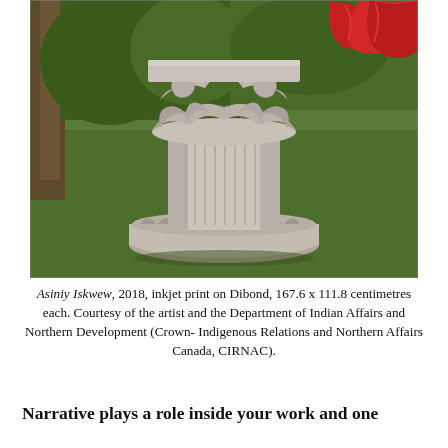[Figure (photo): Photograph of a large ornate stone column capital in an outdoor garden setting with green grass and trees. A red draped fabric is visible at the top right of the column. The stone carving features elaborate acanthus leaf motifs.]
Asiniy Iskwew, 2018, inkjet print on Dibond, 167.6 x 111.8 centimetres each. Courtesy of the artist and the Department of Indian Affairs and Northern Development (Crown- Indigenous Relations and Northern Affairs Canada, CIRNAC).
Narrative plays a role inside your work and one